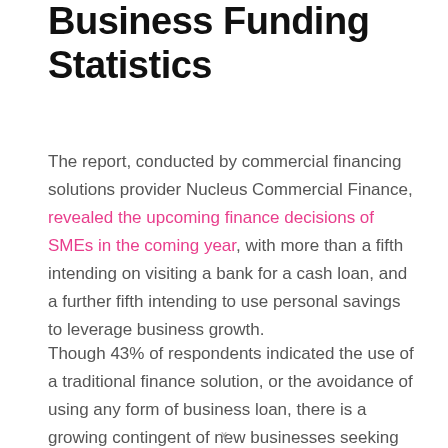Business Funding Statistics
The report, conducted by commercial financing solutions provider Nucleus Commercial Finance, revealed the upcoming finance decisions of SMEs in the coming year, with more than a fifth intending on visiting a bank for a cash loan, and a further fifth intending to use personal savings to leverage business growth.
Though 43% of respondents indicated the use of a traditional finance solution, or the avoidance of using any form of business loan, there is a growing contingent of new businesses seeking out alternative lending methods; 16% of those surveyed indicated
x